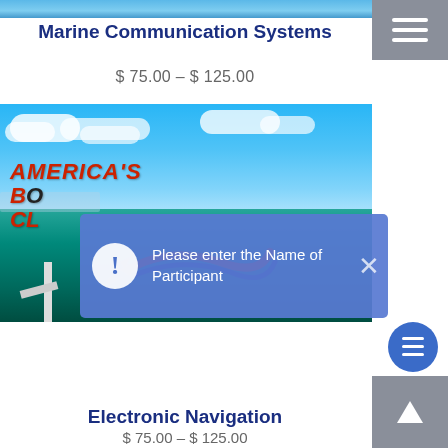[Figure (screenshot): Partial top image of a marine/water scene at top of page]
Marine Communication Systems
$ 75.00 – $ 125.00
[Figure (photo): Nautical/sailing photo with America's Boating Club logo overlay and a blue notification popup saying 'Please enter the Name of Participant']
Please enter the Name of Participant
Electronic Navigation
$ 75.00 – $ 125.00